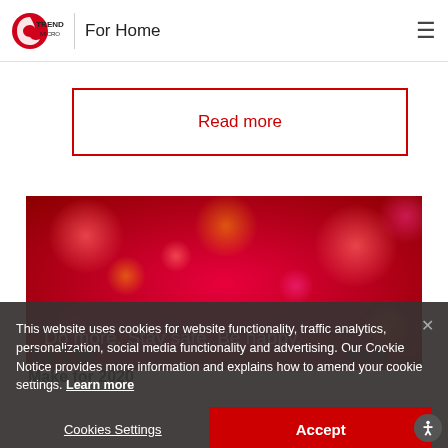Trend Micro | For Home
Read more
[Figure (photo): Red bokeh background banner with text 'Do more. Stay safe. Be happy.']
Do more. Stay safe. Be happy.
This website uses cookies for website functionality, traffic analytics, personalization, social media functionality and advertising. Our Cookie Notice provides more information and explains how to amend your cookie settings. Learn more
Cookies Settings
Accept
The 5 New Year's Resolutions Everyone Should Make for 2020